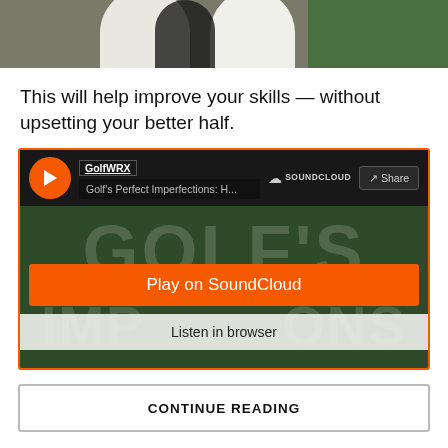[Figure (photo): Two people in white shirts standing on a golf course, cropped at the top of the frame]
This will help improve your skills — without upsetting your better half.
[Figure (screenshot): SoundCloud embed player showing 'GolfWRX — Golf's Perfect Imperfections: H...' with a Play on SoundCloud orange button and Listen in browser option. Background shows large stylized text 'GOLF'S' and 'IMPERFECTIONS'.]
CONTINUE READING